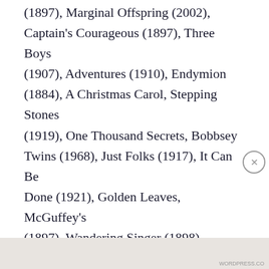(1897), Marginal Offspring (2002), Captain's Courageous (1897), Three Boys (1907), Adventures (1910), Endymion (1884), A Christmas Carol, Stepping Stones (1919), One Thousand Secrets, Bobbsey Twins (1968), Just Folks (1917), It Can Be Done (1921), Golden Leaves, McGuffey's (1897), Wandering Singer (1898),
Privacy & Cookies: This site uses cookies. By continuing to use this website, you agree to their use. To find out more, including how to control cookies, see here: Cookie Policy
Close and accept